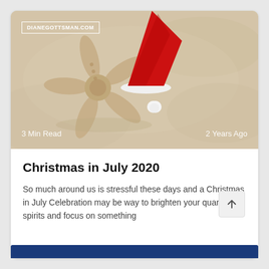[Figure (photo): A starfish wearing a red Santa hat lying on light sandy beach. The image has a URL badge overlay reading DIANEGOTTSMAN.COM, and text overlays '3 Min Read' (bottom left) and '2 Years Ago' (bottom right).]
Christmas in July 2020
So much around us is stressful these days and a Christmas in July Celebration may be way to brighten your quarantine spirits and focus on something